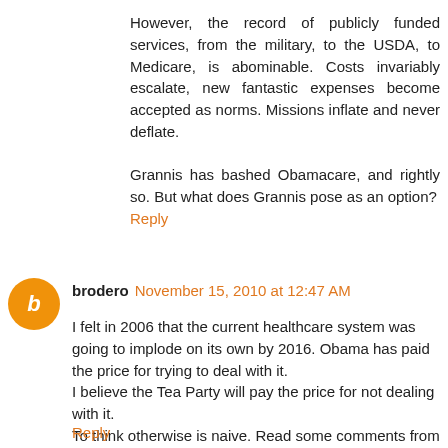However, the record of publicly funded services, from the military, to the USDA, to Medicare, is abominable. Costs invariably escalate, new fantastic expenses become accepted as norms. Missions inflate and never deflate.

Grannis has bashed Obamacare, and rightly so. But what does Grannis pose as an option?
Reply
brodero  November 15, 2010 at 12:47 AM
I felt in 2006 that the current healthcare system was going to implode on its own by 2016. Obama has paid the price for trying to deal with it.
I believe the Tea Party will pay the price for not dealing with it.
To think otherwise is naive. Read some comments from Frank Corvino.
Reply